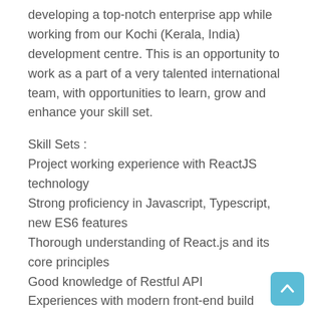developing a top-notch enterprise app while working from our Kochi (Kerala, India) development centre. This is an opportunity to work as a part of a very talented international team, with opportunities to learn, grow and enhance your skill set.
Skill Sets :
Project working experience with ReactJS technology
Strong proficiency in Javascript, Typescript, new ES6 features
Thorough understanding of React.js and its core principles
Good knowledge of Restful API
Experiences with modern front-end build pipeline tools